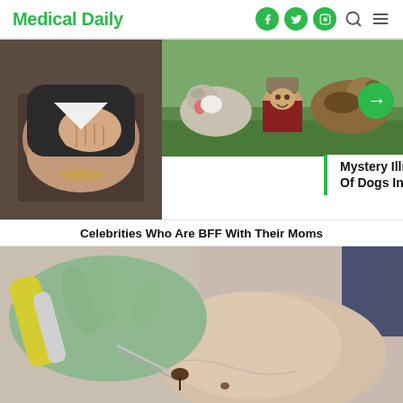Medical Daily
[Figure (photo): Left: person touching shoulder; Right: child with two dogs outdoors]
Mystery Illness That Killed Dozens Of Dogs In Michigan Identified
Celebrities Who Are BFF With Their Moms
[Figure (photo): Medical procedure on ankle/foot with gloved hands holding a device]